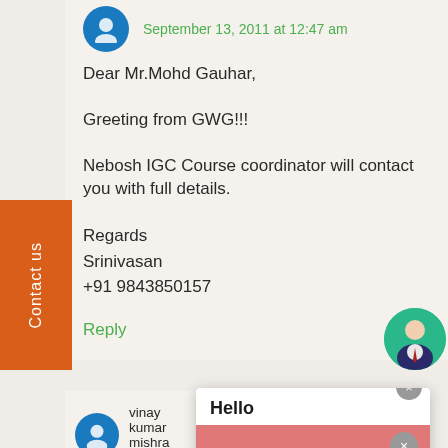September 13, 2011 at 12:47 am
Dear Mr.Mohd Gauhar,

Greeting from GWG!!!

Nebosh IGC Course coordinator will contact you with full details.

Regards
Srinivasan
+91 9843850157
Reply
[Figure (screenshot): Popup dialog with 'Hello' title and a salmon/pink image with 'SALUT' text and a hand waving illustration]
vinay kumar mishra says: